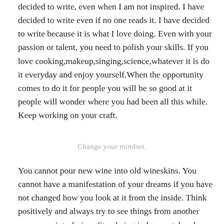decided to write, even when I am not inspired. I have decided to write even if no one reads it. I have decided to write because it is what I love doing. Even with your passion or talent, you need to polish your skills. If you love cooking,makeup,singing,science,whatever it is do it everyday and enjoy yourself.When the opportunity comes to do it for people you will be so good at it people will wonder where you had been all this while. Keep working on your craft.
Change your mindset.
You cannot pour new wine into old wineskins. You cannot have a manifestation of your dreams if you have not changed how you look at it from the inside. Think positively and always try to see things from another persons point of view. Stop being judgemental and close minded. Read widely, never stop learning. You should know that change comes with rebellion, your old life will want you